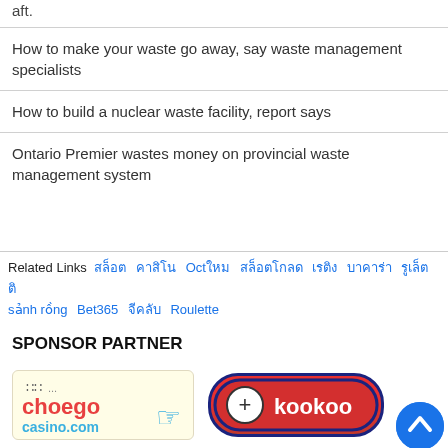How to make your waste go away, say waste management specialists
How to build a nuclear waste facility, report says
Ontario Premier wastes money on provincial waste management system
Related Links  [foreign script links]  Oct[foreign]  sảnh rồng  Bet365  [foreign]  Roulette
SPONSOR PARTNER
[Figure (logo): choego casino.com logo — hand icon, red brand text 'choego', blue subtext 'casino.com' on yellow background]
[Figure (logo): kookoo logo — red oval with dark blue border, white circle with plus sign, white bold text 'kookoo']